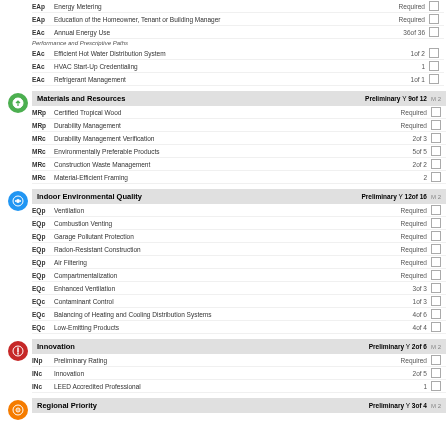EAp Energy Metering Required
EAp Education of the Homeowner, Tenant or Building Manager Required
EAc Annual Energy Use 36of 36
Performance and Prescriptive Paths
EAc Efficient Hot Water Distribution System 1of 2
EAc HVAC Start-Up Credentialing 1
EAc Refrigerant Management 1of 1
Materials and Resources Preliminary Y 9of 12
MRp Certified Tropical Wood Required
MRp Durability Management Required
MRc Durability Management Verification 2of 3
MRc Environmentally Preferable Products 5of 5
MRc Construction Waste Management 2of 2
MRc Material-Efficient Framing 2
Indoor Environmental Quality Preliminary Y 12of 16
EQp Ventilation Required
EQp Combustion Venting Required
EQp Garage Pollutant Protection Required
EQp Radon-Resistant Construction Required
EQp Air Filtering Required
EQp Compartmentalization Required
EQc Enhanced Ventilation 3of 3
EQc Contaminant Control 1of 3
EQc Balancing of Heating and Cooling Distribution Systems 4of 6
EQc Low-Emitting Products 4of 4
Innovation Preliminary Y 2of 6
INp Preliminary Rating Required
INc Innovation 2of 5
INc LEED Accredited Professional 1
Regional Priority Preliminary Y 3of 4